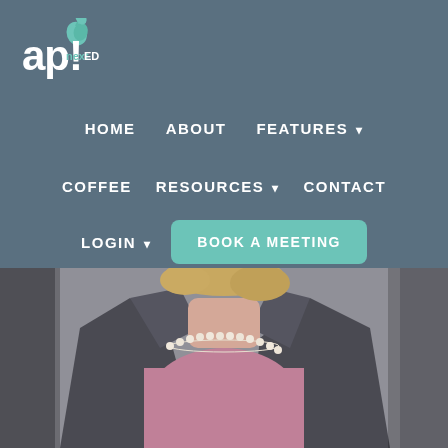[Figure (logo): api nextED logo - white text 'ap!' with small green leaf/apple icon and 'nextED' text in teal]
HOME   ABOUT   FEATURES ▾   COFFEE   RESOURCES ▾   CONTACT   LOGIN ▾   BOOK A MEETING
[Figure (photo): Photo of a woman from neck/shoulders down wearing a pink/mauve sweater, pearl necklace, and dark grey blazer jacket]